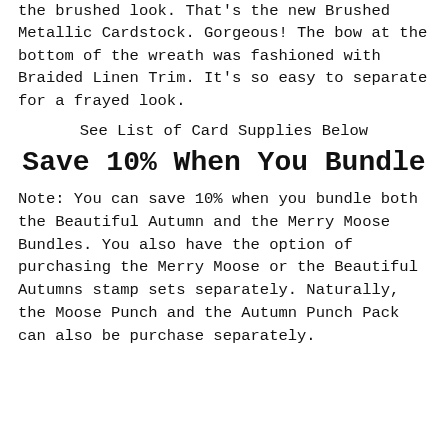the brushed look.  That's the new Brushed Metallic Cardstock.  Gorgeous!  The bow at the bottom of the wreath was fashioned with Braided Linen Trim.  It's so easy to separate for a frayed look.
See List of Card Supplies Below
Save 10% When You Bundle
Note:  You can save 10% when you bundle both the Beautiful Autumn and the Merry Moose Bundles.  You also have the option of purchasing the Merry Moose or the Beautiful Autumns stamp sets separately.  Naturally, the Moose Punch and the Autumn Punch Pack can also be purchase separately.